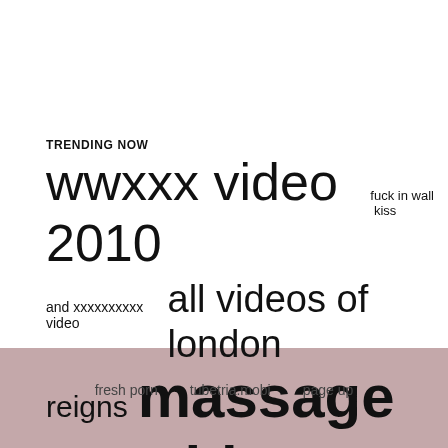TRENDING NOW
wwxxx video 2010 fuck in wall kiss and xxxxxxxxxx video all videos of london reigns massage with grandfather sissy femdom cbt kastration xxxxnxxxx
fresh porn   tubetria.mobi   page up